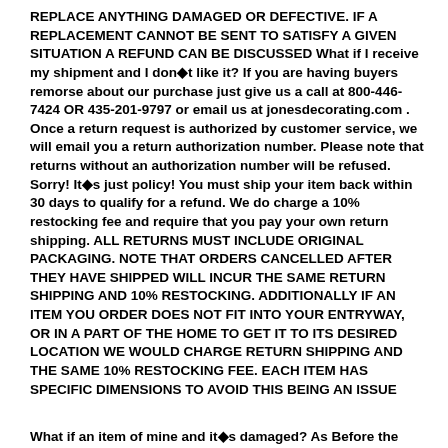REPLACE ANYTHING DAMAGED OR DEFECTIVE. IF A REPLACEMENT CANNOT BE SENT TO SATISFY A GIVEN SITUATION A REFUND CAN BE DISCUSSED What if I receive my shipment and I don◆t like it? If you are having buyers remorse about our purchase just give us a call at 800-446-7424 OR 435-201-9797 or email us at jonesdecorating.com . Once a return request is authorized by customer service, we will email you a return authorization number. Please note that returns without an authorization number will be refused. Sorry! It◆s just policy! You must ship your item back within 30 days to qualify for a refund. We do charge a 10% restocking fee and require that you pay your own return shipping. ALL RETURNS MUST INCLUDE ORIGINAL PACKAGING. NOTE THAT ORDERS CANCELLED AFTER THEY HAVE SHIPPED WILL INCUR THE SAME RETURN SHIPPING AND 10% RESTOCKING. ADDITIONALLY IF AN ITEM YOU ORDER DOES NOT FIT INTO YOUR ENTRYWAY, OR IN A PART OF THE HOME TO GET IT TO ITS DESIRED LOCATION WE WOULD CHARGE RETURN SHIPPING AND THE SAME 10% RESTOCKING FEE. EACH ITEM HAS SPECIFIC DIMENSIONS TO AVOID THIS BEING AN ISSUE
What if an item of mine and it◆s damaged? As Before the...